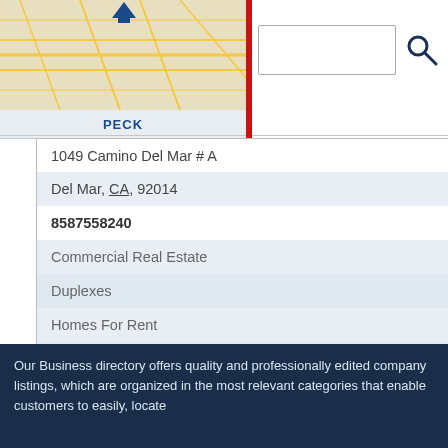[Figure (screenshot): Map area showing street map with location marker]
PECK
[Figure (screenshot): Search input box with magnifying glass icon]
1049 Camino Del Mar # A
Del Mar, CA, 92014
8587558240
Commercial Real Estate
Duplexes
Homes For Rent
Houses For Rent
Real Estate Agents
Show More
Our Business directory offers quality and professionally edited company listings, which are organized in the most relevant categories that enable customers to easily, locate